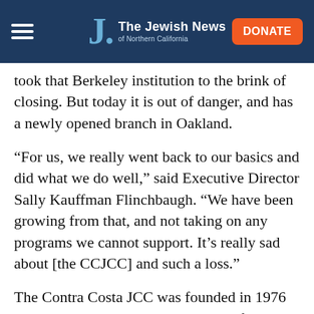The Jewish News of Northern California
took that Berkeley institution to the brink of closing. But today it is out of danger, and has a newly opened branch in Oakland.
“For us, we really went back to our basics and did what we do well,” said Executive Director Sally Kauffman Flinchbaugh. “We have been growing from that, and not taking on any programs we cannot support. It’s really sad about [the CCJCC] and such a loss.”
The Contra Costa JCC was founded in 1976 and spent 27 years at its Tice Valley facility, where it drew members from throughout Contra Costa